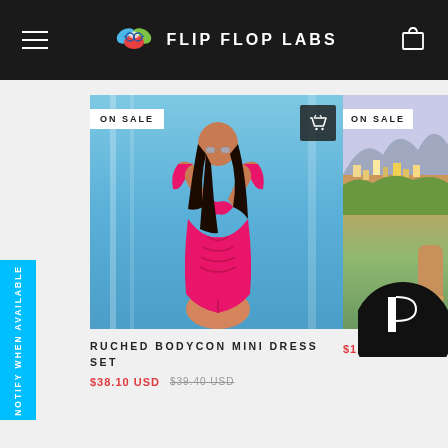FLIP FLOP LABS
[Figure (photo): Product photo of a woman in a pink ruched bodycon mini dress set with cutout, posing against blue sky background. ON SALE badge and basket icon visible.]
RUCHED BODYCON MINI DRESS SET
$38.10 USD  $39.40 USD
[Figure (photo): Partially visible product photo showing a scenic Mediterranean-style hillside town background. ON SALE badge visible.]
$11.27 US
NOTIFY WHEN AVAILABLE